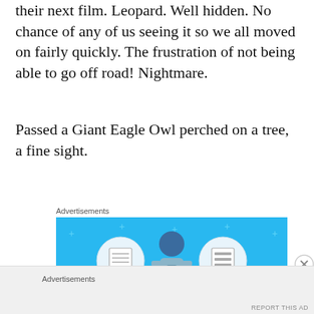their next film. Leopard. Well hidden. No chance of any of us seeing it so we all moved on fairly quickly. The frustration of not being able to go off road! Nightmare.
Passed a Giant Eagle Owl perched on a tree, a fine sight.
Advertisements
[Figure (illustration): Advertisement banner with light blue background showing a person holding a phone flanked by two circular icons of a notebook and a list, with text 'DAY ONE' at the bottom.]
Advertisements
REPORT THIS AD